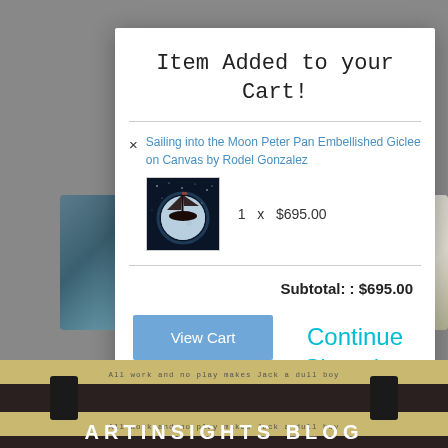Item Added to your Cart!
Sailing into the Moon Peter Pan Embellished Giclee on Canvas by Rodel Gonzalez
1  x  $695.00
Subtotal: : $695.00
View Cart
Checkout
Continue Shopping
ARTINSIGHTS BLOG